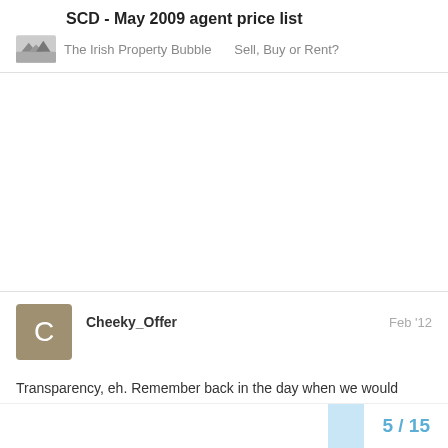SCD - May 2009 agent price list
The Irish Property Bubble   Sell, Buy or Rent?
Cheeky_Offer   Feb '12
Transparency, eh. Remember back in the day when we would “drop a half mill” on the apartment...
5 / 15